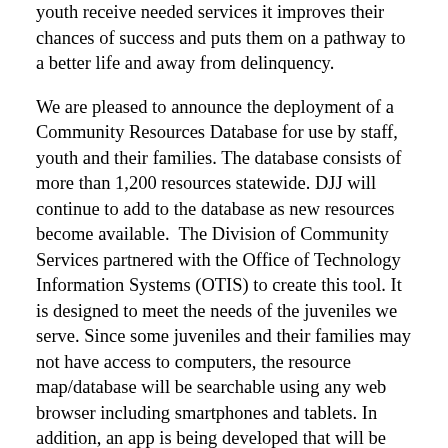youth receive needed services it improves their chances of success and puts them on a pathway to a better life and away from delinquency.
We are pleased to announce the deployment of a Community Resources Database for use by staff, youth and their families. The database consists of more than 1,200 resources statewide. DJJ will continue to add to the database as new resources become available. The Division of Community Services partnered with the Office of Technology Information Systems (OTIS) to create this tool. It is designed to meet the needs of the juveniles we serve. Since some juveniles and their families may not have access to computers, the resource map/database will be searchable using any web browser including smartphones and tablets. In addition, an app is being developed that will be Apple- and Android-compatible.
The technology specialist with the Office of Reentry Services will provide reporting mechanisms to measure efficiency and effectiveness for sustainability. This project was completed using